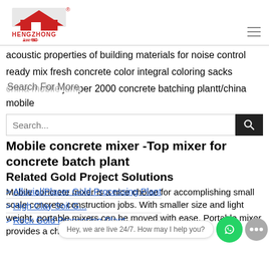[Figure (logo): HengZhong company logo with red house icon and Chinese characters]
acoustic properties of building materials for noise control
ready mix fresh concrete color integral coloring sacks
china mobile jumper 2000 concrete batching plantt/china mobile
Search For More
Search...
Mobile concrete mixer -Top mixer for concrete batch plant
Related Gold Project Solutions
Mobile concrete mixer is a nice choice for accomplishing small scale concrete construction jobs. With smaller size and light weight, portable mixers can be moved with ease. Portable mixer provides a choice for small and onsite concrete m
Alluvial/Placer Gold Processing Plant
High Clay Soil G...
Rock Gold Processing Plant
Hey, we are live 24/7. How may I help you?